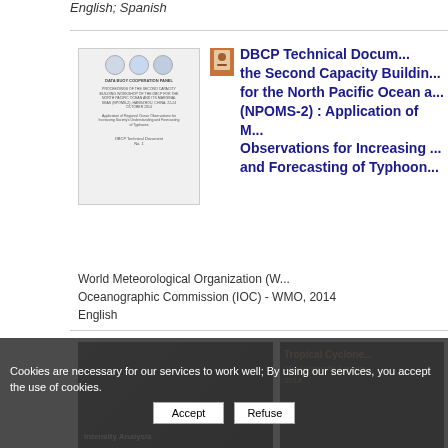English; Spanish
[Figure (illustration): Thumbnail of a document cover page with logos and text about DBCP proceedings for North Pacific Ocean workshop]
DBCP Technical Document - the Second Capacity Building for the North Pacific Ocean and its Marginal Seas (NPOMS-2) : Application of Marine Observations for Increasing Society's Understanding and Forecasting of Typhoons
World Meteorological Organization (WMO) Intergovernmental Oceanographic Commission (IOC) - WMO, 2014
English
[Figure (photo): Dark thumbnail image related to Tropical Cyclone Intensity Analysis, 2014, The University Corporation]
Cookies are necessary for our services to work well; By using our services, you accept the use of cookies.
Refuse
Accept